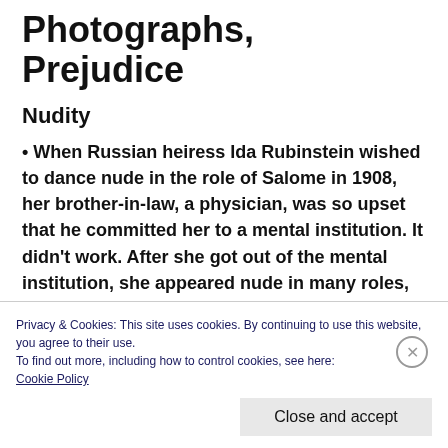Photographs, Prejudice
Nudity
When Russian heiress Ida Rubinstein wished to dance nude in the role of Salome in 1908, her brother-in-law, a physician, was so upset that he committed her to a mental institution. It didn't work. After she got out of the mental institution, she appeared nude in many roles, including that of Cleopatra.
Privacy & Cookies: This site uses cookies. By continuing to use this website, you agree to their use.
To find out more, including how to control cookies, see here:
Cookie Policy
Close and accept